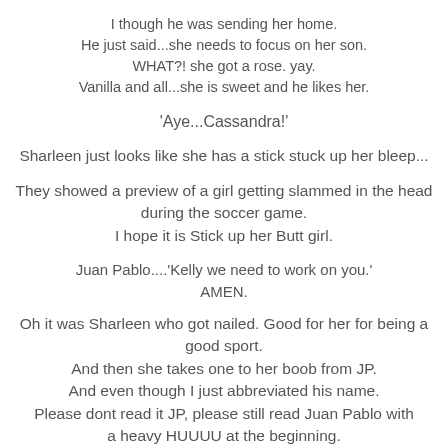I though he was sending her home.
He just said...she needs to focus on her son.
WHAT?! she got a rose. yay.
Vanilla and all...she is sweet and he likes her.
'Aye...Cassandra!'
Sharleen just looks like she has a stick stuck up her bleep...
They showed a preview of a girl getting slammed in the head during the soccer game.
I hope it is Stick up her Butt girl.
Juan Pablo....'Kelly we need to work on you.'
AMEN.
Oh it was Sharleen who got nailed. Good for her for being a good sport.
And then she takes one to her boob from JP.
And even though I just abbreviated his name.
Please dont read it JP, please still read Juan Pablo with a heavy HUUUU at the beginning.